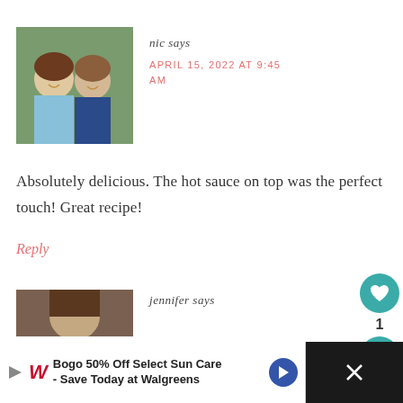[Figure (photo): Profile photo of two women smiling outdoors]
nic says
APRIL 15, 2022 AT 9:45 AM
Absolutely delicious. The hot sauce on top was the perfect touch! Great recipe!
Reply
[Figure (photo): Partial profile photo of jennifer, cropped at bottom]
jennifer says
Bogo 50% Off Select Sun Care - Save Today at Walgreens